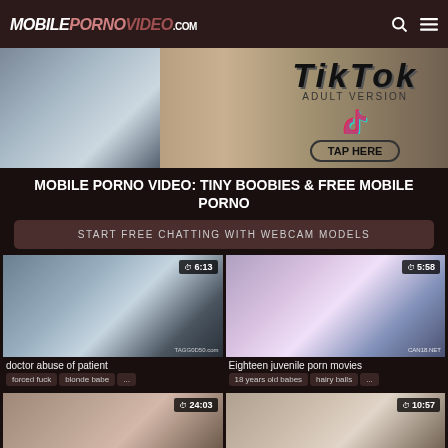MOBILEPORNOVIDEO.com
[Figure (photo): TikTok Adult Version advertisement banner with TAP HERE button]
MOBILE PORNO VIDEO: TINY BOOBIES & FREE MOBILE PORNO
START FREE CHATTING WITH WEBCAM MODELS
[Figure (photo): Video thumbnail: doctor abuse of patient, duration 6:13]
[Figure (photo): Video thumbnail: Eighteen juvenile porn movies, duration 5:58]
doctor abuse of patient — tags: forced fuck, blonde babe ...
Eighteen juvenile porn movies — tags: 18 years old babes, hairy balls ...
[Figure (photo): Video thumbnail bottom left, duration 24:03]
[Figure (photo): Video thumbnail bottom right, duration 10:57]